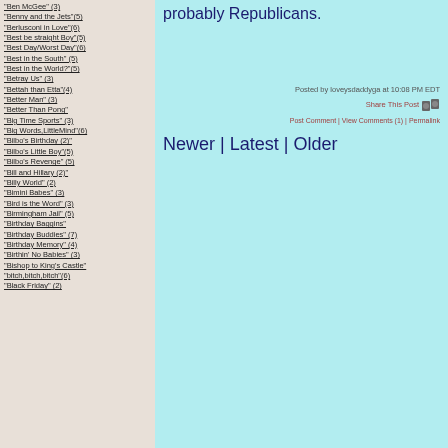"Ben McGee" (3)
"Benny and the Jets"(5)
"Berlusconi in Love"(6)
"Best be straight Boy"(5)
"Best Day/Worst Day"(6)
"Best in the South" (5)
"Best in the World?"(5)
"Betray Us" (3)
"Bettah than Etta"(4)
"Better Man" (3)
"Better Than Pong"
"Big Time Sports" (3)
"Big Words,LittleMind"(6)
"Bilbo's Birthday (2)"
"Bilbo's Little Boy"(5)
"Bilbo's Revenge" (5)
"Bill and Hillary (2)"
"Billy World" (2)
"Bimini Babes" (3)
"Bird is the Word" (3)
"Birmingham Jail" (5)
"Birthday Baggins"
"Birthday Buddies" (7)
"Birthday Memory" (4)
"Birthin' No Babies" (3)
"Bishop to King's Castle"
"bitch,bitch,bitch"(6)
"Black Friday" (2)
probably Republicans.
Posted by loveysdaddyga at 10:08 PM EDT
Share This Post
Post Comment | View Comments (1) | Permalink
Newer | Latest | Older